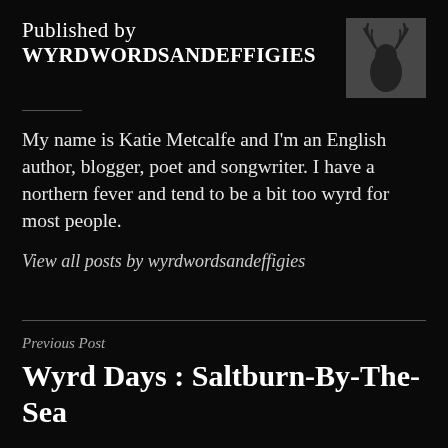Published by WYRDWORDSANDEFFIGIES
[Figure (photo): Dark atmospheric avatar image showing a shadowy antlered horned figure against a grey background]
My name is Katie Metcalfe and I'm an English author, blogger, poet and songwriter. I have a northern fever and tend to be a bit too wyrd for most people.
View all posts by wyrdwordsandeffigies
Previous Post
Wyrd Days : Saltburn-By-The-Sea